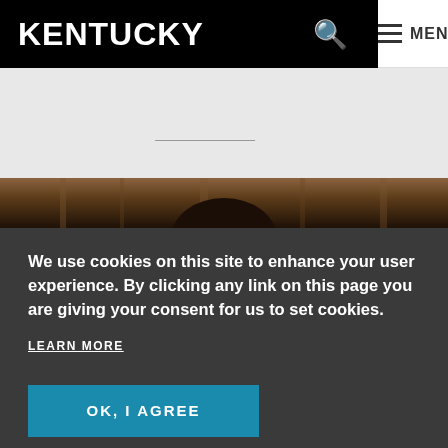KENTUCKY
[Figure (photo): Person photographed from behind, with bookshelves or curtains visible in the background, dark tones]
We use cookies on this site to enhance your user experience. By clicking any link on this page you are giving your consent for us to set cookies.
LEARN MORE
OK, I AGREE